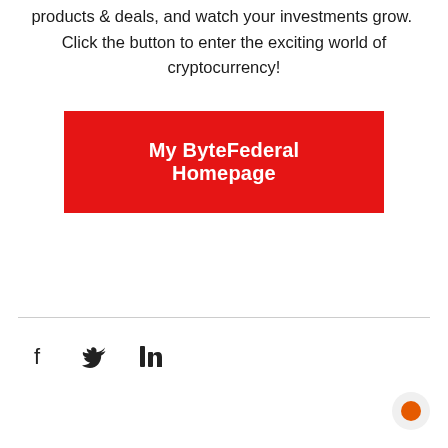products & deals, and watch your investments grow.  Click the button to enter the exciting world of cryptocurrency!
My ByteFederal Homepage
[Figure (other): Social media share icons: Facebook (f), Twitter (bird), LinkedIn (in)]
[Figure (other): Chat bubble button in bottom right corner, orange circle inside gray circle]